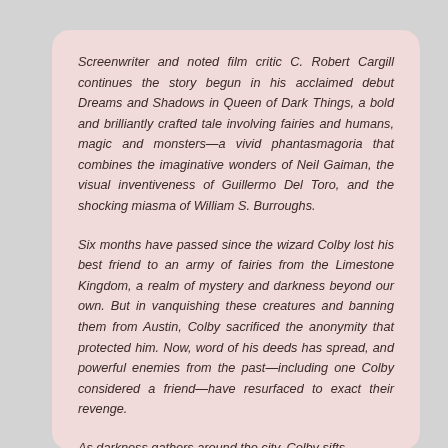Screenwriter and noted film critic C. Robert Cargill continues the story begun in his acclaimed debut Dreams and Shadows in Queen of Dark Things, a bold and brilliantly crafted tale involving fairies and humans, magic and monsters—a vivid phantasmagoria that combines the imaginative wonders of Neil Gaiman, the visual inventiveness of Guillermo Del Toro, and the shocking miasma of William S. Burroughs.
Six months have passed since the wizard Colby lost his best friend to an army of fairies from the Limestone Kingdom, a realm of mystery and darkness beyond our own. But in vanquishing these creatures and banning them from Austin, Colby sacrificed the anonymity that protected him. Now, word of his deeds has spread, and powerful enemies from the past—including one Colby considered a friend—have resurfaced to exact their revenge.
As darkness gathers around the city, Colby sifts